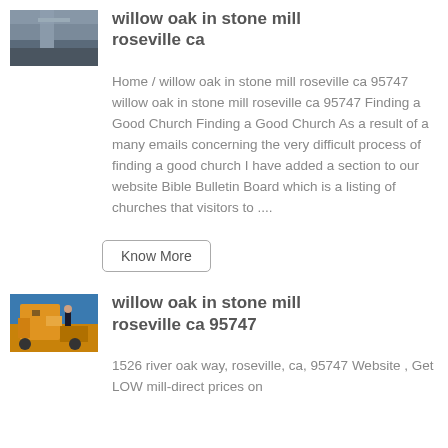[Figure (photo): Thumbnail image of a bridge or structure with cloudy sky, gray tones]
willow oak in stone mill roseville ca
Home / willow oak in stone mill roseville ca 95747 willow oak in stone mill roseville ca 95747 Finding a Good Church Finding a Good Church As a result of a many emails concerning the very difficult process of finding a good church I have added a section to our website Bible Bulletin Board which is a listing of churches that visitors to ....
Know More
[Figure (photo): Thumbnail image of a yellow construction vehicle or bulldozer with a person standing nearby]
willow oak in stone mill roseville ca 95747
1526 river oak way, roseville, ca, 95747 Website , Get LOW mill-direct prices on